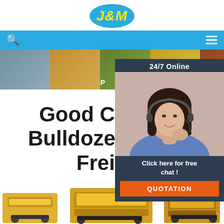[Figure (logo): J&M company logo — blue oval with yellow italic bold text J&M]
[Figure (screenshot): Navigation bar with search icon on left and hamburger menu on right, blue background]
[Figure (screenshot): Hero banner with 5 construction/agriculture equipment photos side by side]
[Figure (screenshot): 24/7 Online chat widget overlay — dark panel with woman on headset, free chat text, and orange QUOTATION button]
Good Condition Bulldozer Cost Price Freight
[Figure (photo): Bottom product thumbnail images of bulldozer/construction equipment parts in yellow]